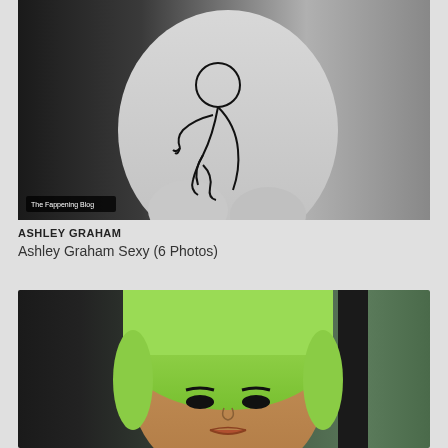[Figure (photo): Black and white photo of a pregnant belly with a line drawing of a fetus on it. Watermark text reads 'The Fappening Blog'.]
ASHLEY GRAHAM
Ashley Graham Sexy (6 Photos)
[Figure (photo): Color photo of a woman with green hair sitting in a car.]